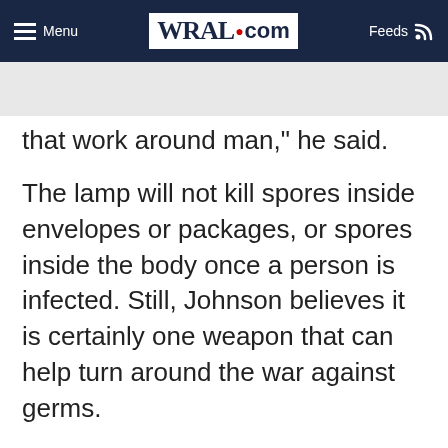Menu | WRAL.com | Feeds
that work around man," he said.
The lamp will not kill spores inside envelopes or packages, or spores inside the body once a person is infected. Still, Johnson believes it is certainly one weapon that can help turn around the war against germs.
The same UVC technology is being used in hospitals for sterilization in the food